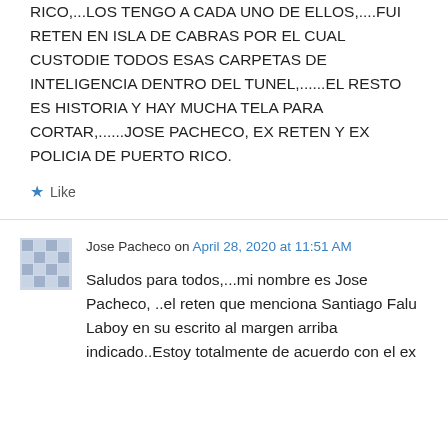RICO,...LOS TENGO A CADA UNO DE ELLOS,....FUI RETEN EN ISLA DE CABRAS POR EL CUAL CUSTODIE TODOS ESAS CARPETAS DE INTELIGENCIA DENTRO DEL TUNEL,......EL RESTO ES HISTORIA Y HAY MUCHA TELA PARA CORTAR,......JOSE PACHECO, EX RETEN Y EX POLICIA DE PUERTO RICO.
★ Like
Jose Pacheco on April 28, 2020 at 11:51 AM
Saludos para todos,...mi nombre es Jose Pacheco, ..el reten que menciona Santiago Falu Laboy en su escrito al margen arriba indicado..Estoy totalmente de acuerdo con el ex